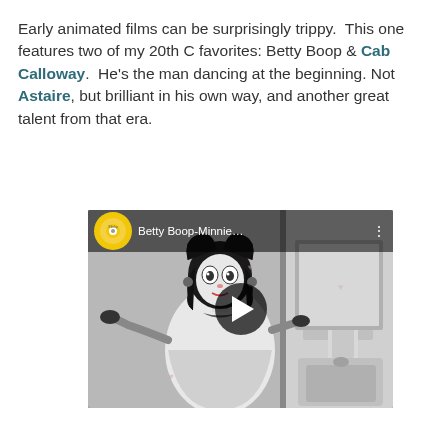Early animated films can be surprisingly trippy.  This one features two of my 20th C favorites: Betty Boop & Cab Calloway.  He’s the man dancing at the beginning. Not Astaire, but brilliant in his own way, and another great talent from that era.
[Figure (screenshot): YouTube video thumbnail showing Betty Boop cartoon in black and white, with a play button overlay, record icon, and title 'Betty Boop-Minnie...' in the top bar]